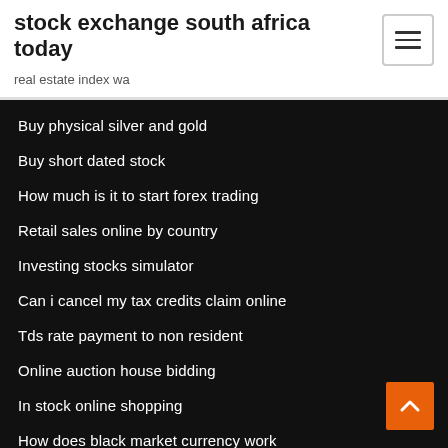stock exchange south africa today
real estate index wa
Buy physical silver and gold
Buy short dated stock
How much is it to start forex trading
Retail sales online by country
Investing stocks simulator
Can i cancel my tax credits claim online
Tds rate payment to non resident
Online auction house bidding
In stock online shopping
How does black market currency work